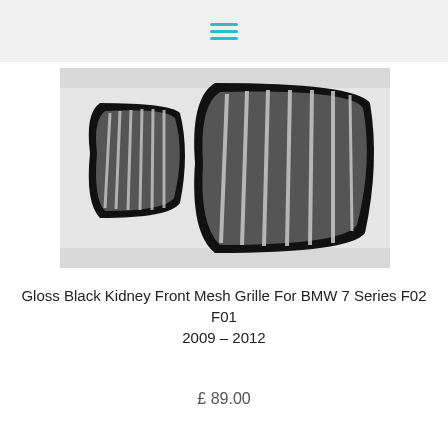≡
[Figure (photo): Two gloss black kidney front mesh grilles for BMW 7 Series F02 F01, one smaller (left) and one larger (right), both with vertical slats, displayed on a white background.]
Gloss Black Kidney Front Mesh Grille For BMW 7 Series F02 F01 2009 – 2012
£ 89.00